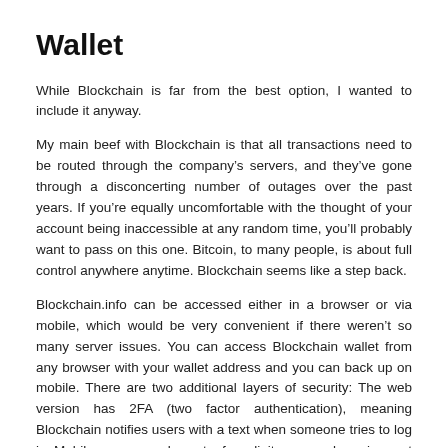Wallet
While Blockchain is far from the best option, I wanted to include it anyway.
My main beef with Blockchain is that all transactions need to be routed through the company’s servers, and they’ve gone through a disconcerting number of outages over the past years. If you’re equally uncomfortable with the thought of your account being inaccessible at any random time, you’ll probably want to pass on this one. Bitcoin, to many people, is about full control anywhere anytime. Blockchain seems like a step back.
Blockchain.info can be accessed either in a browser or via mobile, which would be very convenient if there weren’t so many server issues. You can access Blockchain wallet from any browser with your wallet address and you can back up on mobile. There are two additional layers of security: The web version has 2FA (two factor authentication), meaning Blockchain notifies users with a text when someone tries to log in. Mobile users can also set a four-digit password requirement for the app.
Blockchain.info Bottom Bottom Blockchain fact…